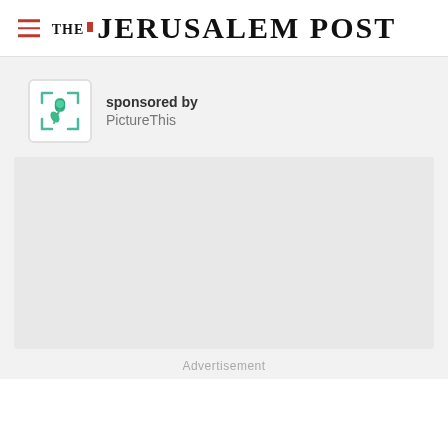THE JERUSALEM POST
[Figure (logo): PictureThis app icon — green flower/plant on white background with rounded corner bracket frame]
sponsored by
PictureThis
[Figure (other): Empty advertisement placeholder box]
Advertisement